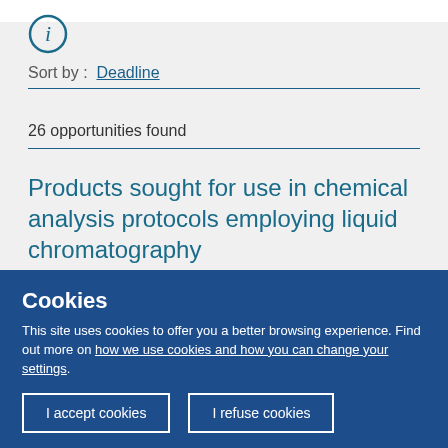[Figure (other): Info icon — circle with italic 'i' in blue outline]
Sort by :  Deadline
26 opportunities found
Products sought for use in chemical analysis protocols employing liquid chromatography
A Swedish SME specialized in high-performance
Cookies
This site uses cookies to offer you a better browsing experience. Find out more on how we use cookies and how you can change your settings.